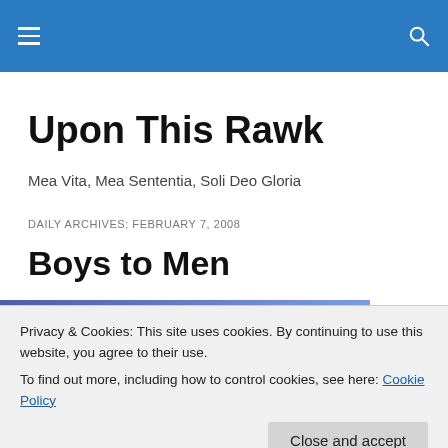Upon This Rawk — navigation bar
Upon This Rawk
Mea Vita, Mea Sententia, Soli Deo Gloria
DAILY ARCHIVES: FEBRUARY 7, 2008
Boys to Men
Privacy & Cookies: This site uses cookies. By continuing to use this website, you agree to their use.
To find out more, including how to control cookies, see here: Cookie Policy